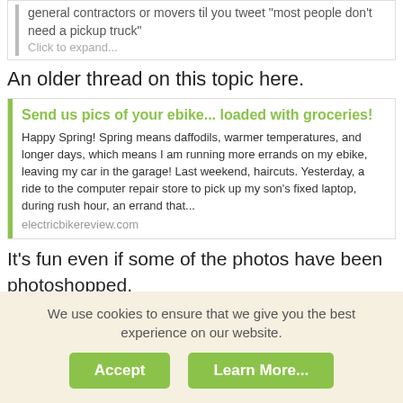general contractors or movers til you tweet "most people don't need a pickup truck"
Click to expand...
An older thread on this topic here.
[Figure (screenshot): Link card with green left bar showing article: 'Send us pics of your ebike... loaded with groceries!' with body text and electricbikereview.com URL]
It's fun even if some of the photos have been photoshopped.
[Figure (photo): Avatar photo of PatriciaK showing a bicycle]
PatriciaK
Well-Known Member
We use cookies to ensure that we give you the best experience on our website.
Accept
Learn More...